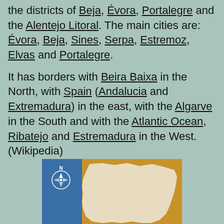the districts of Beja, Évora, Portalegre and the Alentejo Litoral. The main cities are: Évora, Beja, Sines, Serpa, Estremoz, Elvas and Portalegre.
It has borders with Beira Baixa in the North, with Spain (Andalucia and Extremadura) in the east, with the Algarve in the South and with the Atlantic Ocean, Ribatejo and Estremadura in the West. (Wikipedia)
[Figure (map): A map showing the Alentejo region of Portugal. The left portion is blue and the right/main portion is golden/amber colored showing the region outline in light beige/cream. A north compass rose is visible in the upper left blue area.]